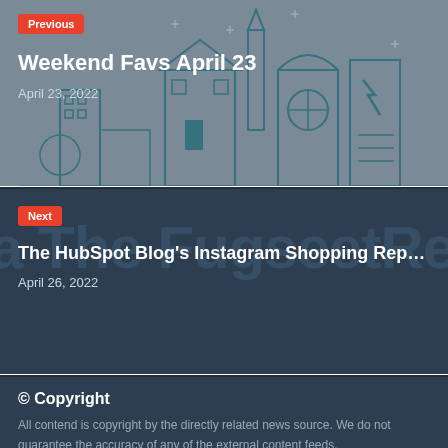[Figure (illustration): Previous post navigation block with city skyline illustration background in teal/blue tones on gray background]
Previous
Weekend Favs April 23
April 23, 2022
[Figure (illustration): Next post navigation block with dark navy background and large watermark text of the article title]
Next
The HubSpot Blog's Instagram Shopping Rep...
April 26, 2022
© Copyright
All contend is copyright by the directly related news source. We do not guarantee the accuracy of any of the external content feeds.